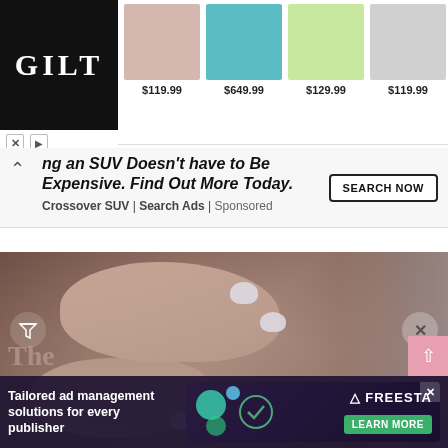[Figure (screenshot): GILT luxury shopping banner ad showing logo and 4 product images with prices: $119.99 (bedding), $649.99 (hanging chair), $129.99 (dachshund figurine), $119.99 (ring)]
ng an SUV Doesn't have to Be Expensive. Find Out More Today.
Crossover SUV | Search Ads | Sponsored
[Figure (photo): Close-up photo of pregnant woman in mauve ribbed top cradling her baby bump with both hands, light purple/white manicured nails visible]
The
[Figure (screenshot): Tailored ad management solutions for every publisher - FreeSTAR ad with Learn More button]